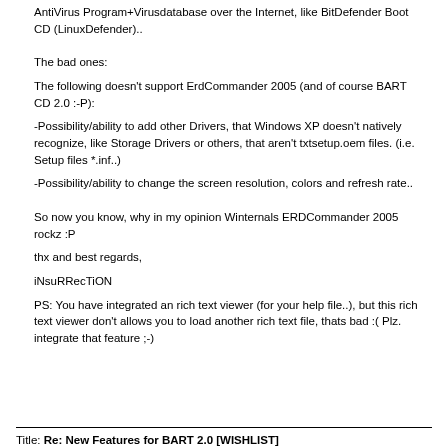AntiVirus Program+Virusdatabase over the Internet, like BitDefender Boot CD (LinuxDefender)..
The bad ones:
The following doesn't support ErdCommander 2005 (and of course BART CD 2.0 :-P):
-Possibility/ability to add other Drivers, that Windows XP doesn't natively recognize, like Storage Drivers or others, that aren't txtsetup.oem files. (i.e. Setup files *.inf..)
-Possibility/ability to change the screen resolution, colors and refresh rate..
So now you know, why in my opinion Winternals ERDCommander 2005 rockz :P
thx and best regards,
iNsuRRecTiON
PS: You have integrated an rich text viewer (for your help file..), but this rich text viewer don't allows you to load another rich text file, thats bad :( Plz. integrate that feature ;-)
Title: Re: New Features for BART 2.0 [WISHLIST]